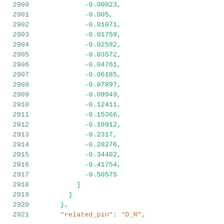2900   -0.00023,
2901   -0.005,
2902   -0.01071,
2903   -0.01758,
2904   -0.02582,
2905   -0.03572,
2906   -0.04761,
2907   -0.06185,
2908   -0.07897,
2909   -0.09949,
2910   -0.12411,
2911   -0.15366,
2912   -0.18912,
2913   -0.2317,
2914   -0.28276,
2915   -0.34402,
2916   -0.41754,
2917   -0.50575
2918       ]
2919      ]
2920       },
2921       "related_pin": "D_N",